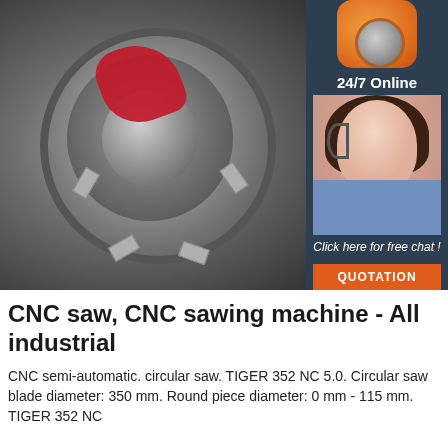[Figure (photo): Close-up photo of a CNC circular saw machine chuck/spindle with a red workpiece clamped in the center, metallic jaws visible. Top right corner shows an orange hydraulic fitting component.]
[Figure (infographic): Sidebar on right side showing '24/7 Online' text, a photo of a female customer service agent with headset, 'Click here for free chat!' text, and an orange 'QUOTATION' button, all on dark navy background.]
CNC saw, CNC sawing machine - All industrial
CNC semi-automatic. circular saw. TIGER 352 NC 5.0. Circular saw blade diameter: 350 mm. Round piece diameter: 0 mm - 115 mm. TIGER 352 NC